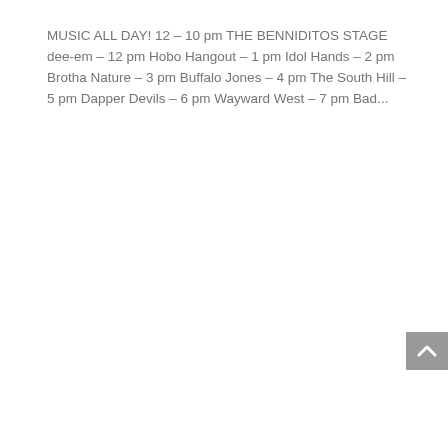MUSIC ALL DAY! 12 – 10 pm THE BENNIDITOS STAGE dee-em – 12 pm Hobo Hangout – 1 pm Idol Hands – 2 pm Brotha Nature – 3 pm Buffalo Jones – 4 pm The South Hill – 5 pm Dapper Devils – 6 pm Wayward West – 7 pm Bad...